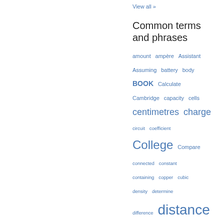View all »
Common terms and phrases
amount ampère Assistant Assuming battery body BOOK Calculate Cambridge capacity cells centimetres charge circuit coefficient College Compare connected constant containing copper cubic density determine difference distance dynes Edited electricity ELEMENTARY energy engine ENGLISH equal